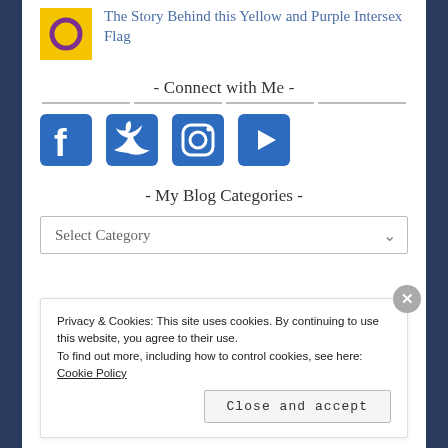[Figure (photo): Yellow and purple intersex flag thumbnail image]
The Story Behind this Yellow and Purple Intersex Flag
- Connect with Me -
[Figure (logo): Facebook, Twitter, Instagram, and YouTube social media icons in blue]
- My Blog Categories -
Select Category
Privacy & Cookies: This site uses cookies. By continuing to use this website, you agree to their use. To find out more, including how to control cookies, see here: Cookie Policy
Close and accept